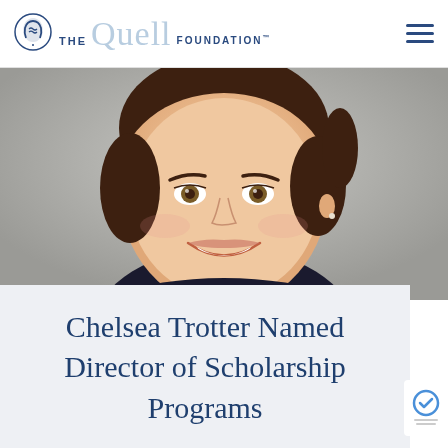THE Quell FOUNDATION™
[Figure (photo): Close-up portrait photo of a smiling woman with brown hair pulled back, hazel eyes, light skin, wearing a dark top, against a grey background.]
Chelsea Trotter Named Director of Scholarship Programs